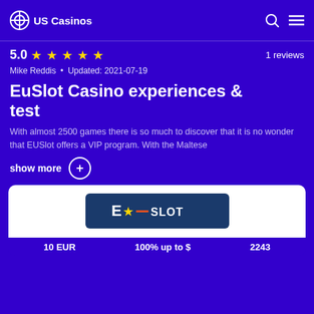US Casinos
5.0 ★★★★★   1 reviews
Mike Reddis • Updated: 2021-07-19
EuSlot Casino experiences & test
With almost 2500 games there is so much to discover that it is no wonder that EUSlot offers a VIP program. With the Maltese
show more +
[Figure (logo): EuSlot casino logo banner in dark blue with stylized E star and SLOT text]
10 EUR   100% up to $   2243